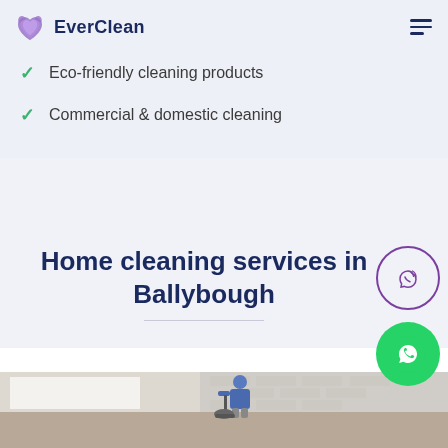EverClean
Eco-friendly cleaning products
Commercial & domestic cleaning
Home cleaning services in Ballybough
[Figure (photo): A person in a blue shirt using a vacuum cleaner in a bright room with a white brick wall and window]